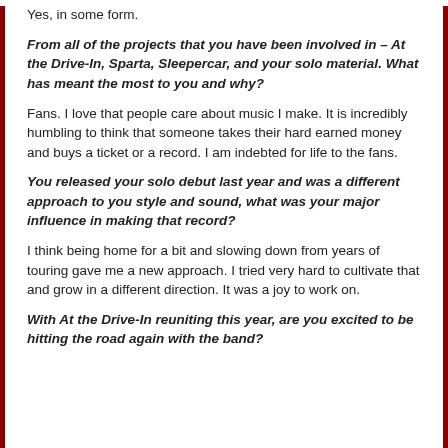Yes, in some form.
From all of the projects that you have been involved in – At the Drive-In, Sparta, Sleepercar, and your solo material. What has meant the most to you and why?
Fans. I love that people care about music I make. It is incredibly humbling to think that someone takes their hard earned money and buys a ticket or a record. I am indebted for life to the fans.
You released your solo debut last year and was a different approach to you style and sound, what was your major influence in making that record?
I think being home for a bit and slowing down from years of touring gave me a new approach. I tried very hard to cultivate that and grow in a different direction. It was a joy to work on.
With At the Drive-In reuniting this year, are you excited to be hitting the road again with the band?